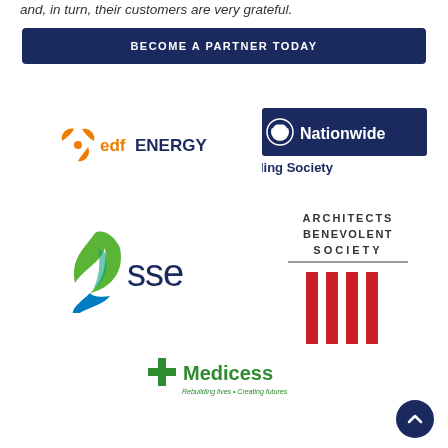and, in turn, their customers are very grateful.
BECOME A PARTNER TODAY
[Figure (logo): EDF Energy logo with orange fan/windmill icon and orange/blue text]
[Figure (logo): Nationwide Building Society logo with dark blue rectangle and white text]
[Figure (logo): SSE logo with green and blue flame/leaf icon and blue SSE text]
[Figure (logo): Architects Benevolent Society logo with black text and red vertical bars]
[Figure (logo): Medicess logo with green cross and text 'Rebuilding lives - Creating futures']